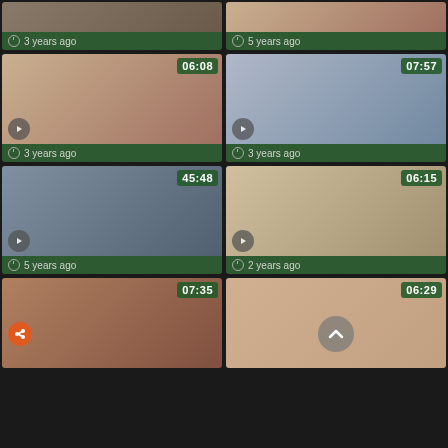[Figure (screenshot): Video thumbnail grid row 1 left - 3 years ago]
3 years ago
[Figure (screenshot): Video thumbnail grid row 1 right - 5 years ago]
5 years ago
[Figure (screenshot): Video thumbnail 06:08 - 3 years ago]
3 years ago
[Figure (screenshot): Video thumbnail 07:57 - 3 years ago]
3 years ago
[Figure (screenshot): Video thumbnail 45:48 - 5 years ago]
5 years ago
[Figure (screenshot): Video thumbnail 06:15 - 2 years ago]
2 years ago
[Figure (screenshot): Video thumbnail 07:35 - partial view]
[Figure (screenshot): Video thumbnail 06:29 - partial view]